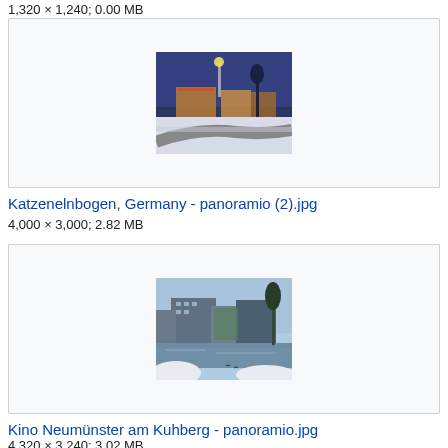1,320 × 1,240; 0.00 MB
[Figure (photo): Winter night scene showing a roundabout with snow, streetlights, and buildings with warm lights in Katzenelnbogen, Germany]
Katzenelnbogen, Germany - panoramio (2).jpg
4,000 × 3,000; 2.82 MB
[Figure (photo): Winter daytime scene showing Kino Neumünster am Kuhberg with a body of water in the foreground and buildings behind]
Kino Neumünster am Kuhberg - panoramio.jpg
4,320 × 3,240; 3.02 MB